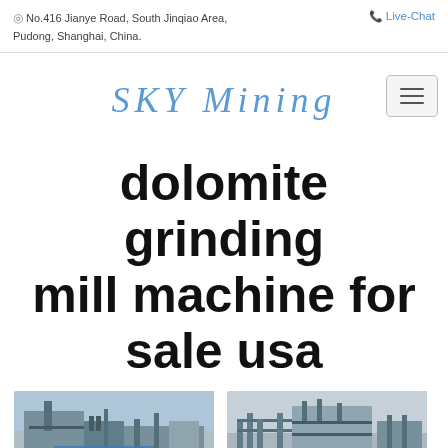No.416 Jianye Road, South Jinqiao Area, Pudong, Shanghai, China.
Live-Chat
[Figure (logo): SKY Mining company logo in light blue italic serif font]
dolomite grinding mill machine for sale usa
[Figure (photo): Industrial mining/processing facility with large steel structure and equipment, outdoor daylight]
[Figure (photo): Industrial mining/processing facility with steel scaffolding and equipment, outdoor daylight]